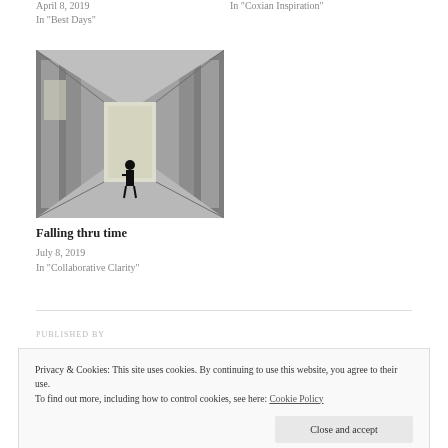April 8, 2019
In "Best Days"
In "Coxian Inspiration"
[Figure (photo): Black and white photograph of a hallway corridor with a silhouetted figure standing near a bright doorway at the far end, with deteriorating walls on either side.]
Falling thru time
July 8, 2019
In "Collaborative Clarity"
PUBLISHED BY
Privacy & Cookies: This site uses cookies. By continuing to use this website, you agree to their use.
To find out more, including how to control cookies, see here: Cookie Policy
Close and accept